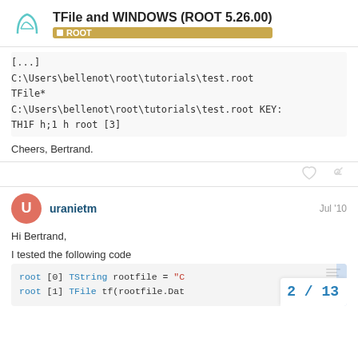TFile and WINDOWS (ROOT 5.26.00) ROOT
C:\Users\bellenot\root\tutorials\test.root
TFile*
C:\Users\bellenot\root\tutorials\test.root KEY:
TH1F h;1 h root [3]
Cheers, Bertrand.
uranietm
Jul '10
Hi Bertrand,
I tested the following code
root [0] TString rootfile = "C
root [1] TFile tf(rootfile.Dat